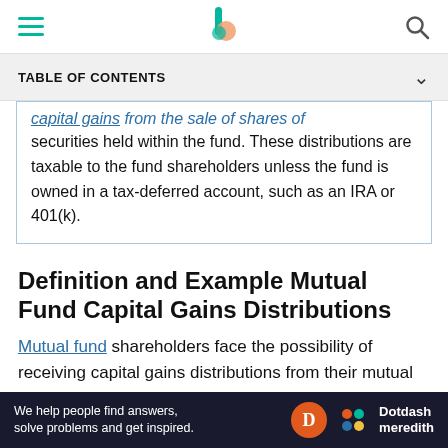TABLE OF CONTENTS
capital gains from the sale of shares of securities held within the fund. These distributions are taxable to the fund shareholders unless the fund is owned in a tax-deferred account, such as an IRA or 401(k).
Definition and Example Mutual Fund Capital Gains Distributions
Mutual fund shareholders face the possibility of receiving capital gains distributions from their mutual funds each year around November or December. These
[Figure (other): Ad banner: 'We help people find answers, solve problems and get inspired.' with Dotdash Meredith logo]